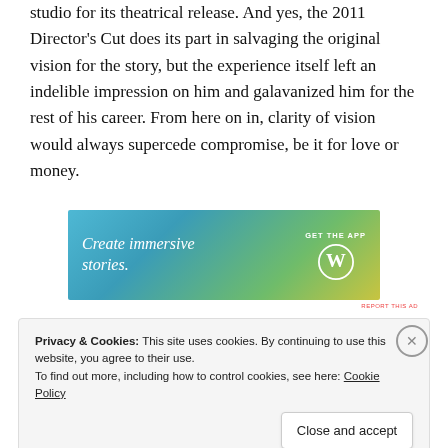studio for its theatrical release. And yes, the 2011 Director's Cut does its part in salvaging the original vision for the story, but the experience itself left an indelible impression on him and galavanized him for the rest of his career. From here on in, clarity of vision would always supercede compromise, be it for love or money.
[Figure (other): WordPress advertisement banner with gradient background from blue to yellow-green. Text reads 'Create immersive stories.' with 'GET THE APP' and WordPress logo on the right.]
"This is a struggle you have as an artist. Hellboy, in HELLBOY
Privacy & Cookies: This site uses cookies. By continuing to use this website, you agree to their use.
To find out more, including how to control cookies, see here: Cookie Policy
Close and accept